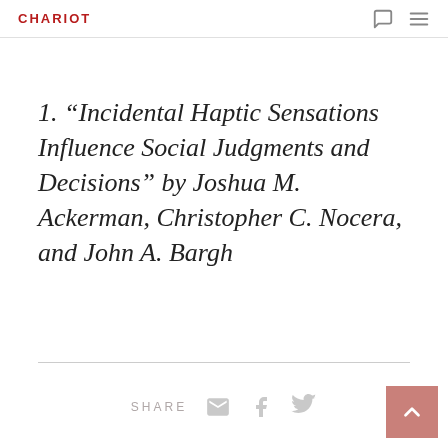CHARIOT
1. “Incidental Haptic Sensations Influence Social Judgments and Decisions” by Joshua M. Ackerman, Christopher C. Nocera, and John A. Bargh
SHARE